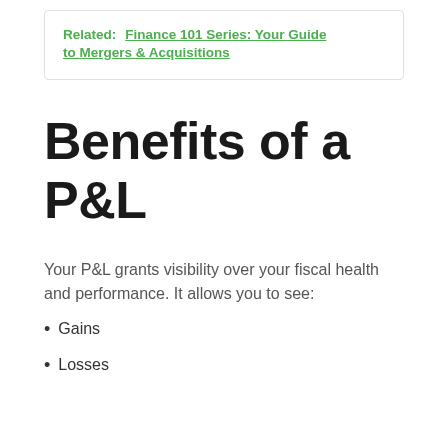Related:  Finance 101 Series: Your Guide to Mergers & Acquisitions
Benefits of a P&L
Your P&L grants visibility over your fiscal health and performance. It allows you to see:
Gains
Losses